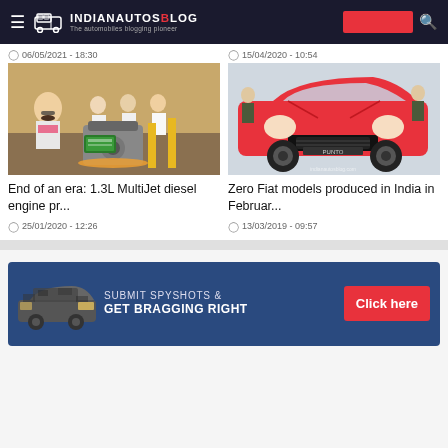IndianAutosBlog — The automobiles blogging pioneer
06/05/2021 - 18:30
15/04/2020 - 10:54
[Figure (photo): People standing near engine components with marigold garland decoration, factory floor setting]
[Figure (photo): Red Fiat Punto car at an auto show, front view, with security personnel in background, indianautosblog.com watermark]
End of an era: 1.3L MultiJet diesel engine pr...
Zero Fiat models produced in India in Februar...
25/01/2020 - 12:26
13/03/2019 - 09:57
[Figure (infographic): Ad banner: dark blue background with camouflaged car image, text SUBMIT SPYSHOTS & GET BRAGGING RIGHT, red Click here button]